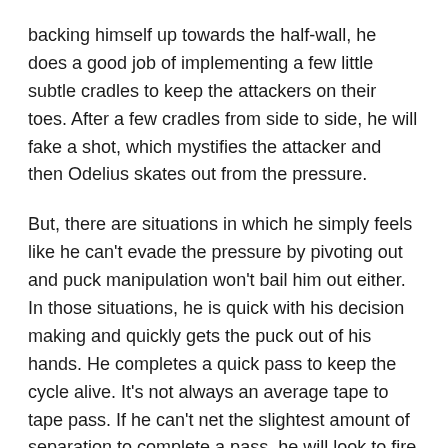backing himself up towards the half-wall, he does a good job of implementing a few little subtle cradles to keep the attackers on their toes. After a few cradles from side to side, he will fake a shot, which mystifies the attacker and then Odelius skates out from the pressure.
But, there are situations in which he simply feels like he can't evade the pressure by pivoting out and puck manipulation won't bail him out either. In those situations, he is quick with his decision making and quickly gets the puck out of his hands. He completes a quick pass to keep the cycle alive. It's not always an average tape to tape pass. If he can't net the slightest amount of separation to complete a pass, he will look to fire a saucer over the attacker's stick.